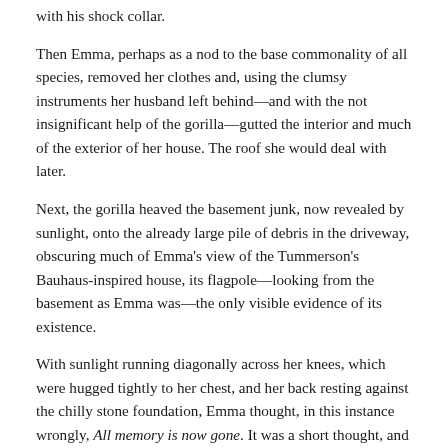with his shock collar.
Then Emma, perhaps as a nod to the base commonality of all species, removed her clothes and, using the clumsy instruments her husband left behind—and with the not insignificant help of the gorilla—gutted the interior and much of the exterior of her house. The roof she would deal with later.
Next, the gorilla heaved the basement junk, now revealed by sunlight, onto the already large pile of debris in the driveway, obscuring much of Emma's view of the Tummerson's Bauhaus-inspired house, its flagpole—looking from the basement as Emma was—the only visible evidence of its existence.
With sunlight running diagonally across her knees, which were hugged tightly to her chest, and her back resting against the chilly stone foundation, Emma thought, in this instance wrongly, All memory is now gone. It was a short thought, and she knew it flawed, yet it was a thought, and